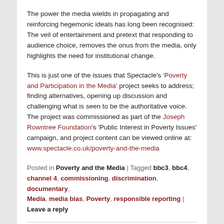The power the media wields in propagating and reinforcing hegemonic ideals has long been recognised: The veil of entertainment and pretext that responding to audience choice, removes the onus from the media, only highlights the need for institutional change.
This is just one of the issues that Spectacle's 'Poverty and Participation in the Media' project seeks to address; finding alternatives, opening up discussion and challenging what is seen to be the authoritative voice. The project was commissioned as part of the Joseph Rowntree Foundation's 'Public Interest in Poverty Issues' campaign, and project content can be viewed online at: www.spectacle.co.uk/poverty-and-the-media
Posted in Poverty and the Media | Tagged bbc3, bbc4, channel 4, commissioning, discrimination, documentary, Media, media bias, Poverty, responsible reporting | Leave a reply